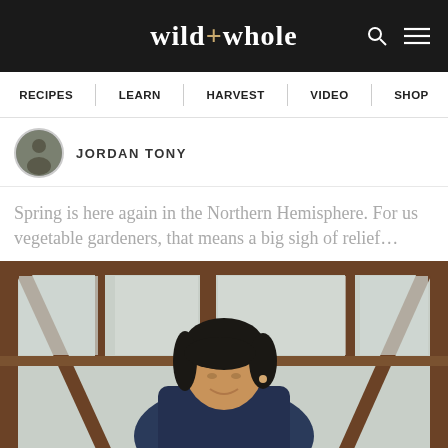wild+whole
RECIPES | LEARN | HARVEST | VIDEO | SHOP
JORDAN TONY
Spring is here again in the Northern Hemisphere. For us vegetable gardeners, that means a big sigh of relief…
[Figure (photo): Woman with dark hair looking down, standing inside a wooden greenhouse frame with wintry landscape visible through the glass]
SHOP RELATED